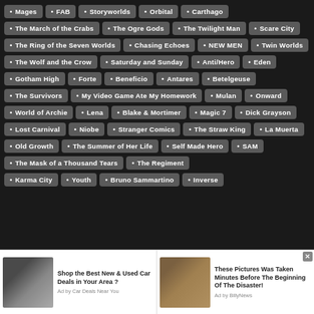Mages
FAB
Storyworlds
Orbital
Carthago
The March of the Crabs
The Ogre Gods
The Twilight Man
Scare City
The Ring of the Seven Worlds
Chasing Echoes
NEW MEN
Twin Worlds
The Wolf and the Crow
Saturday and Sunday
Anti/Hero
Eden
Gotham High
Forte
Beneficio
Antares
Betelgeuse
The Survivors
My Video Game Ate My Homework
Mulan
Onward
World of Archie
Lena
Blake & Mortimer
Magic 7
Dick Grayson
Lost Carnival
Niobe
Stranger Comics
The Straw King
La Muerta
Old Growth
The Summer of Her Life
Self Made Hero
SAM
The Mask of a Thousand Tears
The Regiment
Karma City
Youth
Bruno Sammartino
Inverse
Shop the Best New & Used Car Deals in Your Area ? Ad by Car Deals Near You
These Pictures Was Taken Minutes Before The Beginning Of The Disaster! Ad by BillyNews